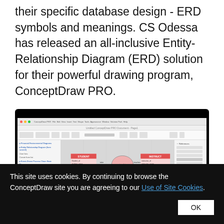their specific database design - ERD symbols and meanings. CS Odessa has released an all-inclusive Entity-Relationship Diagram (ERD) solution for their powerful drawing program, ConceptDraw PRO.
[Figure (screenshot): Screenshot of ConceptDraw PRO application showing an Entity-Relationship Diagram with tables labeled STUDENT and INSTRUCTOR connected by relationship shapes, with a play button overlay indicating a video]
This site uses cookies. By continuing to browse the ConceptDraw site you are agreeing to our Use of Site Cookies.